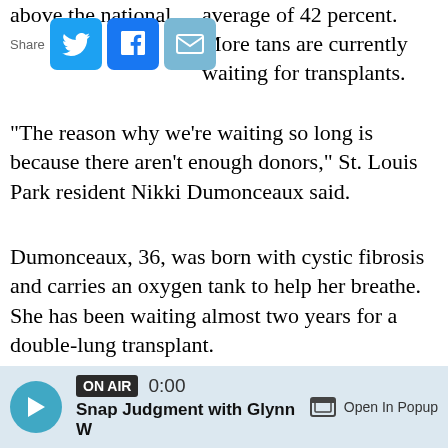above the national average of 42 percent. More tans are currently waiting for transplants.
"The reason why we're waiting so long is because there aren't enough donors," St. Louis Park resident Nikki Dumonceaux said.
Dumonceaux, 36, was born with cystic fibrosis and carries an oxygen tank to help her breathe. She has been waiting almost two years for a double-lung transplant.
"If there are more donors out there, more people are going to receive their transplant and live longer fuller lives," she said.
[Figure (other): Audio player bar with play button, ON AIR badge, time 0:00, title 'Snap Judgment with Glynn W', and Open In Popup button]